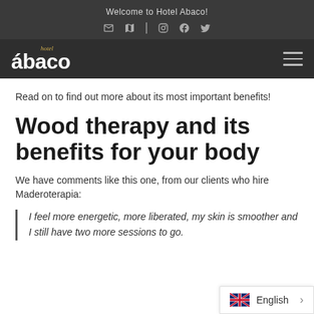Welcome to Hotel Abaco!
[Figure (logo): Hotel Abaco logo with hamburger menu navigation bar]
Read on to find out more about its most important benefits!
Wood therapy and its benefits for your body
We have comments like this one, from our clients who hire Maderoterapia:
I feel more energetic, more liberated, my skin is smoother and I still have two more sessions to go.